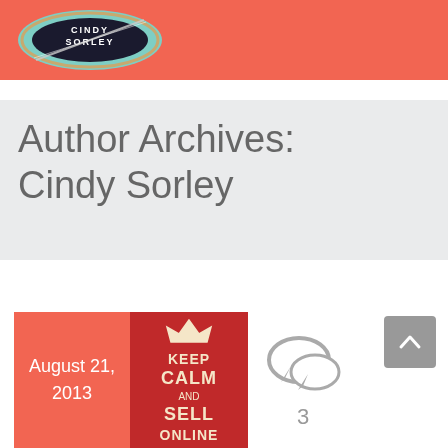Cindy Sorley
Author Archives:
Cindy Sorley
August 21, 2013
[Figure (illustration): Keep Calm and Sell Online poster — dark red background with crown icon and white text]
[Figure (infographic): Speech bubble comment icon with number 3 below]
[Figure (infographic): Grey scroll-to-top button with upward chevron arrow]